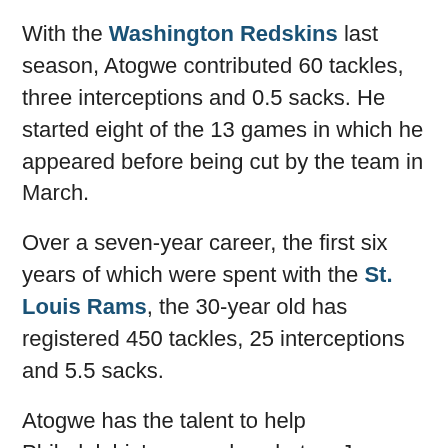With the Washington Redskins last season, Atogwe contributed 60 tackles, three interceptions and 0.5 sacks. He started eight of the 13 games in which he appeared before being cut by the team in March.
Over a seven-year career, the first six years of which were spent with the St. Louis Rams, the 30-year old has registered 450 tackles, 25 interceptions and 5.5 sacks.
Atogwe has the talent to help Philadelphia's secondary, but as Jason Brewer of Bleeding Green Nation explains, that's only if he can stay healthy.
Atogwe, who will turn 31 next week, spent last season with the Redskins and was generally thought